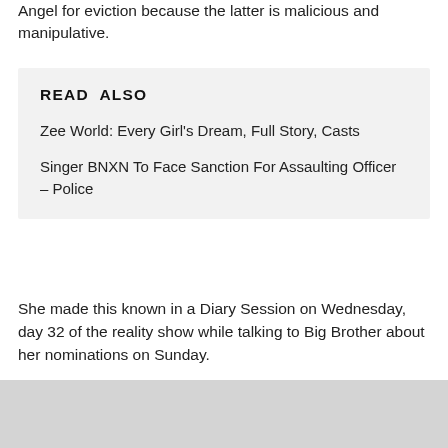Angel for eviction because the latter is malicious and manipulative.
READ ALSO
Zee World: Every Girl's Dream, Full Story, Casts
Singer BNXN To Face Sanction For Assaulting Officer – Police
She made this known in a Diary Session on Wednesday, day 32 of the reality show while talking to Big Brother about her nominations on Sunday.